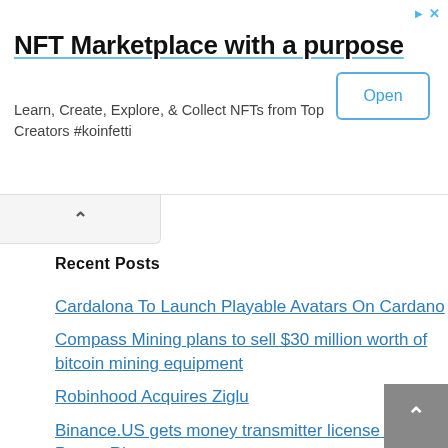[Figure (other): Advertisement banner for NFT Marketplace with title, subtitle, and Open button]
NFT Marketplace with a purpose
Learn, Create, Explore, & Collect NFTs from Top Creators #koinfetti
Recent Posts
Cardalona To Launch Playable Avatars On Cardano
Compass Mining plans to sell $30 million worth of bitcoin mining equipment
Robinhood Acquires Ziglu
Binance.US gets money transmitter license in Puerto Rico
Terra's UST Becomes Third-Largest Stablecoin